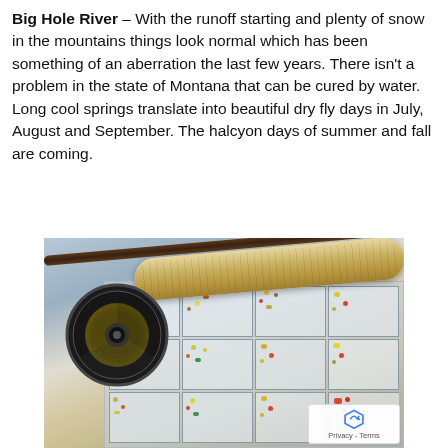Big Hole River – With the runoff starting and plenty of snow in the mountains things look normal which has been something of an aberration the last few years. There isn't a problem in the state of Montana that can be cured by water. Long cool springs translate into beautiful dry fly days in July, August and September. The halcyon days of summer and fall are coming.
[Figure (photo): A fly fishing rod with cork grip and reel loaded with yellow line, resting on top of a plastic tackle box filled with various colorful fishing flies organized in compartments.]